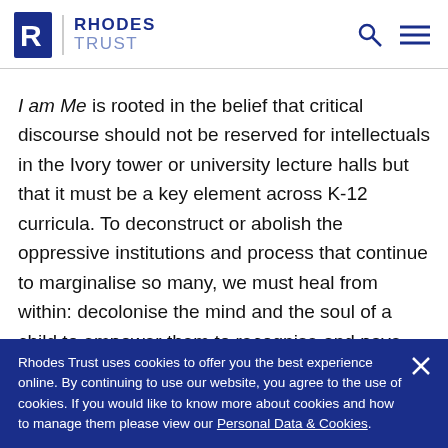RHODES TRUST
I am Me is rooted in the belief that critical discourse should not be reserved for intellectuals in the Ivory tower or university lecture halls but that it must be a key element across K-12 curricula. To deconstruct or abolish the oppressive institutions and process that continue to marginalise so many, we must heal from within: decolonise the mind and the soul of a child to empower them to recognise and pave their path
Rhodes Trust uses cookies to offer you the best experience online. By continuing to use our website, you agree to the use of cookies. If you would like to know more about cookies and how to manage them please view our Personal Data & Cookies.